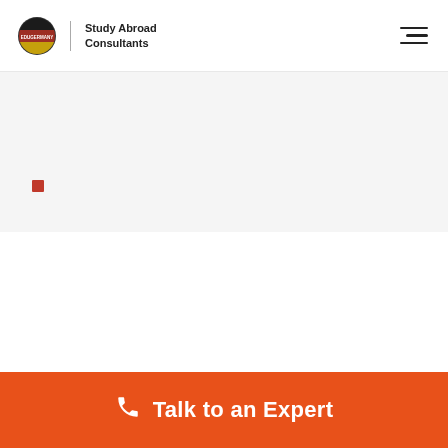[Figure (logo): EduGermany Study Abroad Consultants logo with German flag circle and text]
[Figure (other): Hamburger menu icon (three horizontal lines)]
[Figure (other): Small red square marker/bullet in the gray section]
Talk to an Expert